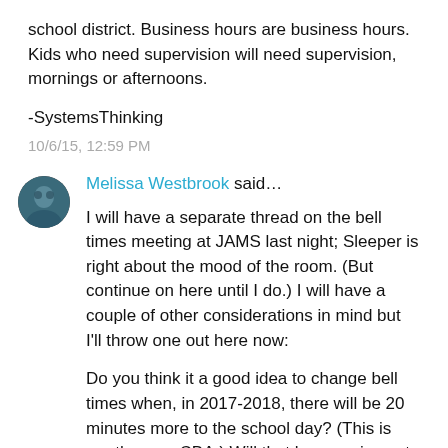school district. Business hours are business hours. Kids who need supervision will need supervision, mornings or afternoons.
-SystemsThinking
10/6/15, 12:59 PM
Melissa Westbrook said…
I will have a separate thread on the bell times meeting at JAMS last night; Sleeper is right about the mood of the room. (But continue on here until I do.) I will have a couple of other considerations in mind but I'll throw one out here now:
Do you think it a good idea to change bell times when, in 2017-2018, there will be 20 minutes more to the school day? (This is per the new CBA.) Will that have an impact again on bell times (and thus, perhaps causing yet another adjustment to those times)?
Would it be better to table the discussion...